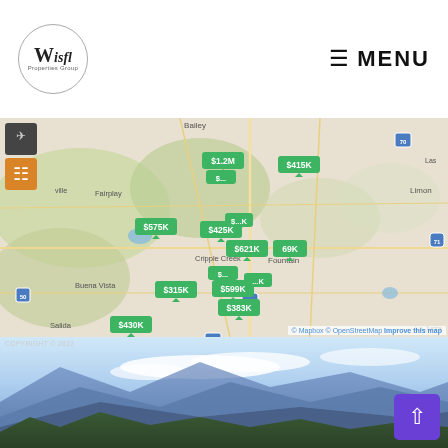Wisfl Properties Group — MENU
[Figure (map): Interactive real estate map of Colorado Springs and surrounding area showing property price tags: $1.2M, $415K, $575K, $425K, $621K, $69K, $315K, $599K, $383K, $430K, $315K. Map powered by Mapbox and OpenStreetMap.]
© Mapbox © OpenStreetMap Improve this map
[Figure (photo): Mountain landscape panorama with blue sky and clouds, forest in foreground. COPYRIGHT © 2022]